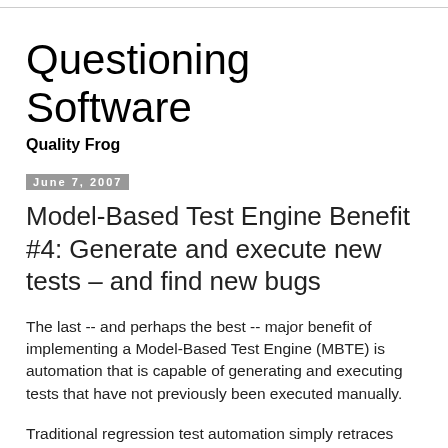Questioning Software
Quality Frog
June 7, 2007
Model-Based Test Engine Benefit #4: Generate and execute new tests – and find new bugs
The last -- and perhaps the best -- major benefit of implementing a Model-Based Test Engine (MBTE) is automation that is capable of generating and executing tests that have not previously been executed manually.
Traditional regression test automation simply retraces test cases that have been performed manually. This...